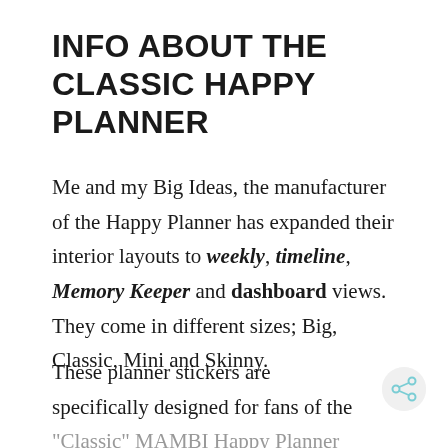INFO ABOUT THE  CLASSIC HAPPY PLANNER
Me and my Big Ideas, the manufacturer of the Happy Planner has expanded their interior layouts to weekly, timeline, Memory Keeper and dashboard views. They come in different sizes; Big, Classic, Mini and Skinny.
These planner stickers are specifically designed for fans of the “Classic” MAMBI Happy Planner (vertical layout) or similar